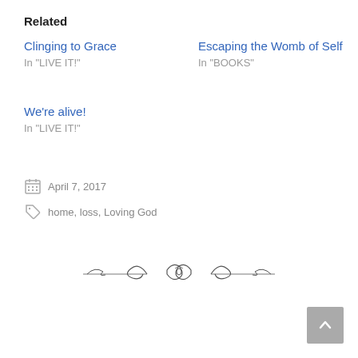Related
Clinging to Grace
In "LIVE IT!"
Escaping the Womb of Self
In "BOOKS"
We're alive!
In "LIVE IT!"
April 7, 2017
home, loss, Loving God
[Figure (illustration): Decorative ornamental divider with scrollwork and bow design]
Scroll to top button